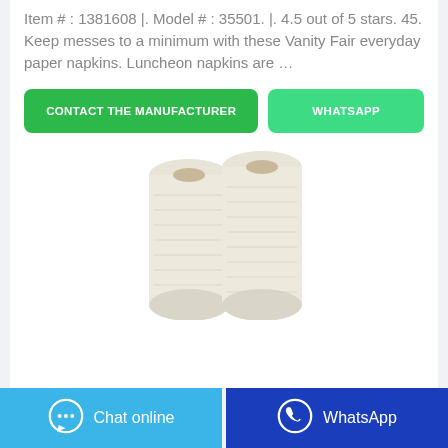Item # : 1381608 |. Model # : 35501. |. 4.5 out of 5 stars. 45. Keep messes to a minimum with these Vanity Fair everyday paper napkins. Luncheon napkins are …
[Figure (other): Two green call-to-action buttons: 'CONTACT THE MANUFACTURER' and 'WHATSAPP']
[Figure (photo): Two rolls of white paper towels side by side on a white background]
Chat online | WhatsApp